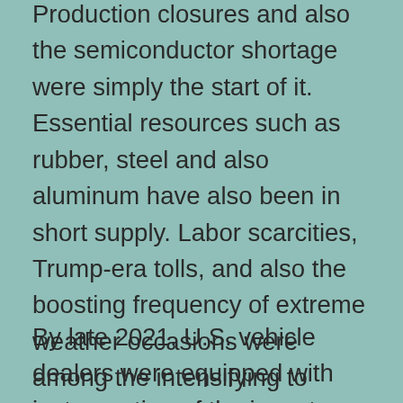Production closures and also the semiconductor shortage were simply the start of it. Essential resources such as rubber, steel and also aluminum have also been in short supply. Labor scarcities, Trump-era tolls, and also the boosting frequency of extreme weather occasions were among the intensifying to more intensify the situation, resulting in longer lead times and also catastrophic hold-ups.
By late 2021, U.S. vehicle dealers were equipped with just a portion of the inventory available pre-pandemic. On the other hand,